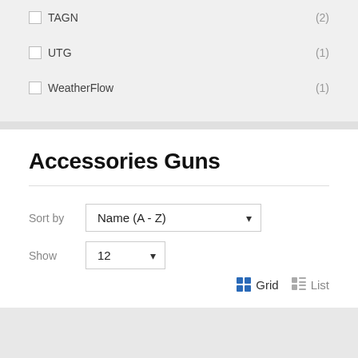TAGN (2)
UTG (1)
WeatherFlow (1)
Accessories Guns
Sort by  Name (A - Z)
Show  12
Grid  List